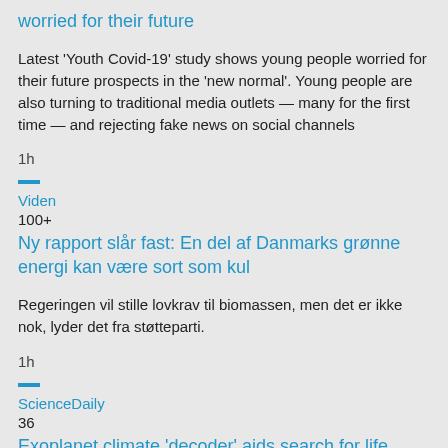worried for their future
Latest 'Youth Covid-19' study shows young people worried for their future prospects in the 'new normal'. Young people are also turning to traditional media outlets — many for the first time — and rejecting fake news on social channels
1h
—
Viden
100+
Ny rapport slår fast: En del af Danmarks grønne energi kan være sort som kul
Regeringen vil stille lovkrav til biomassen, men det er ikke nok, lyder det fra støtteparti.
1h
—
ScienceDaily
36
Exoplanet climate 'decoder' aids search for life